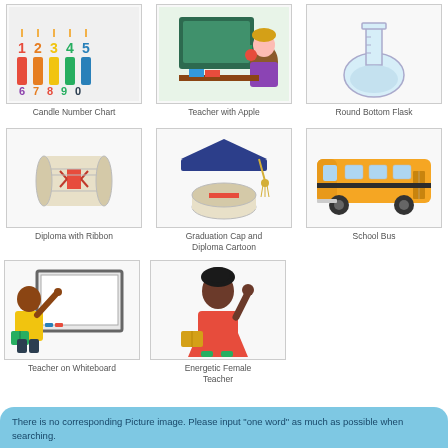[Figure (illustration): Colorful candle numbers 1-9 and 0 arranged in two rows on white background]
Candle Number Chart
[Figure (illustration): Cartoon teacher woman with blonde hair holding an apple, standing at a chalkboard]
Teacher with Apple
[Figure (illustration): Round bottom flask laboratory glassware illustration]
Round Bottom Flask
[Figure (illustration): Rolled diploma with red ribbon]
Diploma with Ribbon
[Figure (illustration): Graduation cap (mortarboard) and diploma cartoon illustration]
Graduation Cap and Diploma Cartoon
[Figure (illustration): Yellow school bus illustration]
School Bus
[Figure (illustration): Cartoon boy teacher pointing at whiteboard holding a book]
Teacher on Whiteboard
[Figure (illustration): Energetic female teacher cartoon, dark skinned woman with fist raised holding a book]
Energetic Female Teacher
There is no corresponding Picture image. Please input "one word" as much as possible when searching.